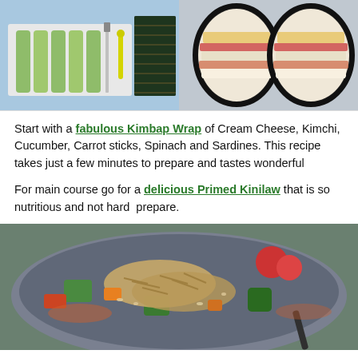[Figure (photo): Two food preparation photos side by side: left shows sliced cucumber sticks with a knife and nori sheet on a cutting board; right shows a kimbap wrap cut in half revealing cream cheese, kimchi and other fillings wrapped in nori seaweed.]
Start with a fabulous Kimbap Wrap of Cream Cheese, Kimchi, Cucumber, Carrot sticks, Spinach and Sardines. This recipe takes just a few minutes to prepare and tastes wonderful
For main course go for a delicious Primed Kinilaw that is so nutritious and not hard  prepare.
[Figure (photo): A bowl of Primed Kinilaw dish showing mixed vegetables including cucumber, tomatoes, and fish with a fork/spoon on the side, served in a grey bowl.]